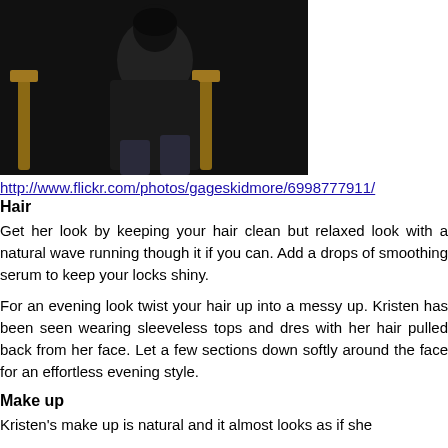[Figure (photo): A person sitting in a wooden chair, wearing dark clothing, photographed in a dark setting.]
http://www.flickr.com/photos/gageskidmore/6998777911/
Hair
Get her look by keeping your hair clean but relaxed look with a natural wave running though it if you can. Add a drops of smoothing serum to keep your locks shiny.
For an evening look twist your hair up into a messy up. Kristen has been seen wearing sleeveless tops and dres with her hair pulled back from her face. Let a few sections down softly around the face for an effortless evening style.
Make up
Kristen's make up is natural and it almost looks as if she